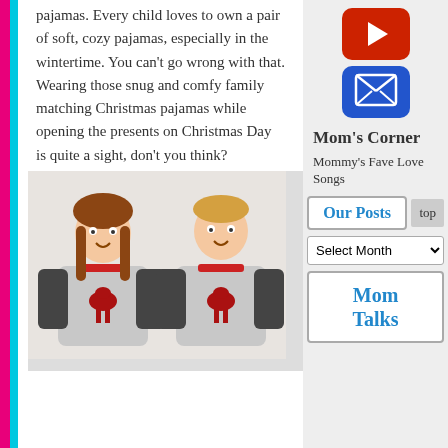pajamas. Every child loves to own a pair of soft, cozy pajamas, especially in the wintertime. You can't go wrong with that. Wearing those snug and comfy family matching Christmas pajamas while opening the presents on Christmas Day is quite a sight, don't you think?
[Figure (photo): Two children (a girl and a boy) wearing matching grey and dark baseball-style shirts with a red moose graphic on them.]
[Figure (logo): YouTube play button icon (red rounded square with white triangle)]
[Figure (logo): Email/envelope icon (blue rounded square with white envelope/X shape)]
Mom's Corner
Mommy's Fave Love Songs
Our Posts
top
Select Month
Mom Talks